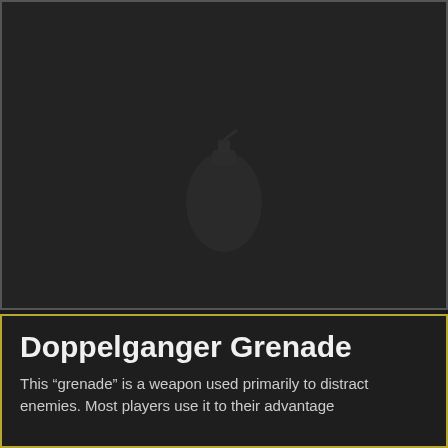[Figure (illustration): Dark background panel showing a game item image area — predominantly dark/black with a subtle item silhouette (a grenade) barely visible in the lower center portion.]
Doppelganger Grenade
This “grenade” is a weapon used primarily to distract enemies. Most players use it to their advantage